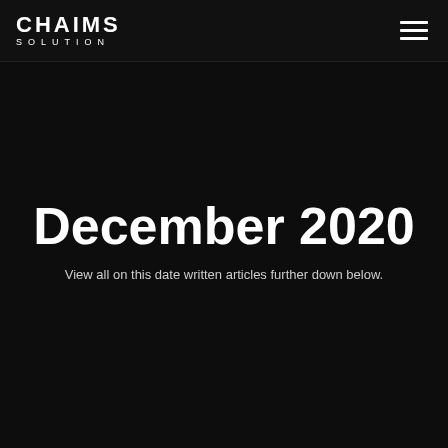CHAIMS SOLUTION
December 2020
View all on this date written articles further down below.